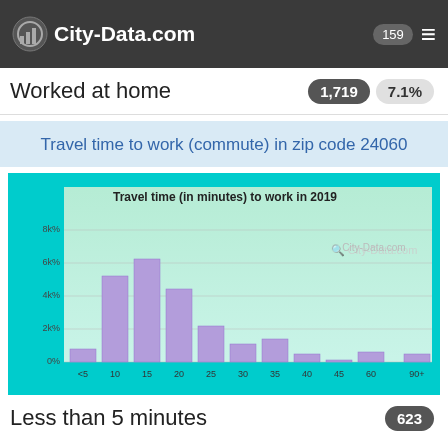City-Data.com  159
Worked at home  1,719  7.1%
Travel time to work (commute) in zip code 24060
[Figure (histogram): Travel time (in minutes) to work in 2019]
Less than 5 minutes  623